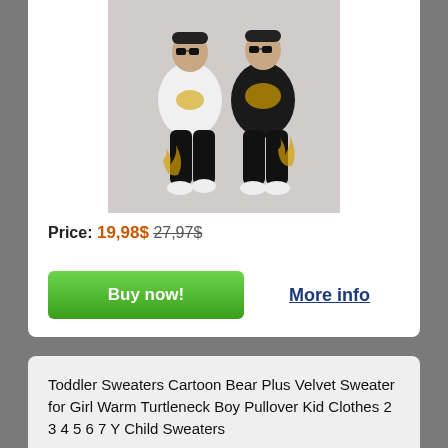[Figure (photo): Two boys wearing matching dragon-print outfits — one in white, one in black — posing on a gray background.]
Price: 19,98$ 27,97$
Buy now!
More info
Toddler Sweaters Cartoon Bear Plus Velvet Sweater for Girl Warm Turtleneck Boy Pullover Kid Clothes 2 3 4 5 6 7 Y Child Sweaters